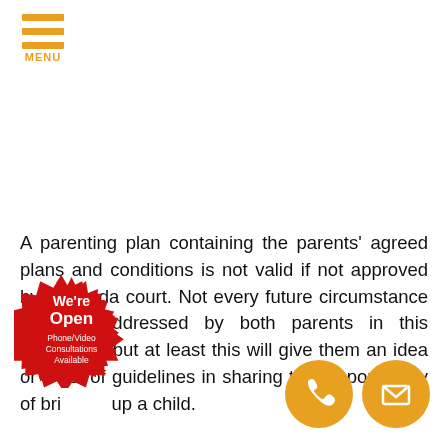[Figure (logo): Orange hamburger menu icon with three horizontal bars and MENU label below]
A parenting plan containing the parents' agreed plans and conditions is not valid if not approved by a Florida court. Not every future circumstance can be addressed by both parents in this document, but at least this will give them an idea or a set of guidelines in sharing the responsibility of bringing up a child. ...be any disagreement between both parties or ...court and the parents, it is the duty of the ...in. They will be the ones to come up ...ew ter... ...nd conditions, removing the parents' com...A
[Figure (infographic): Red starburst badge with We're Open text and Phone/Video Consultations Available subtext]
[Figure (infographic): Orange circle phone icon button]
[Figure (infographic): Orange circle mail/envelope icon button]